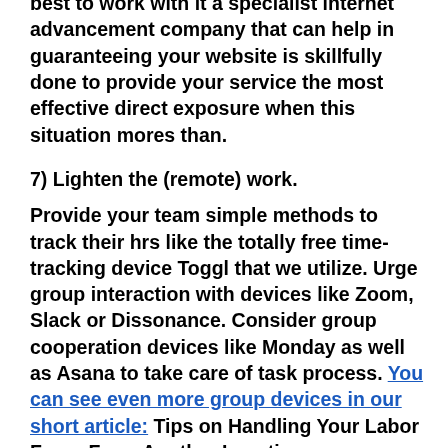best to work with it a specialist internet advancement company that can help in guaranteeing your website is skillfully done to provide your service the most effective direct exposure when this situation mores than.
7) Lighten the (remote) work.
Provide your team simple methods to track their hrs like the totally free time-tracking device Toggl that we utilize. Urge group interaction with devices like Zoom, Slack or Dissonance. Consider group cooperation devices like Monday as well as Asana to take care of task process. You can see even more group devices in our short article: Tips on Handling Your Labor Force From Another Location
8) Obtain lean as well as indicate.
You're mosting likely to need to approve that points might be limited for some time. Exist on your essentials.